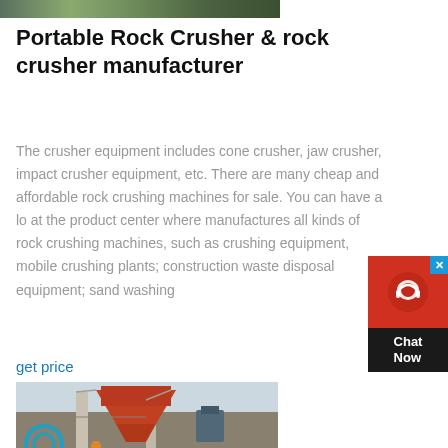[Figure (photo): Partial top image showing outdoor industrial/construction scene]
Portable Rock Crusher & rock crusher manufacturer
The crusher equipment includes cone crusher, jaw crusher, impact crusher equipment, etc. There are many cheap and affordable rock crushing machines for sale. You can have a look at the product center where manufactures all kinds of rock crushing machines, such as crushing equipment, mobile crushing plants; construction waste disposal equipment; sand washing
get price
[Figure (photo): Photo of a portable rock crushing plant with orange/red machinery and structural supports outdoors]